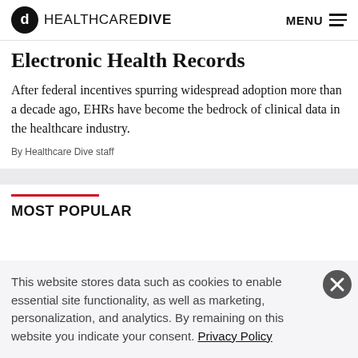HEALTHCAREDIVE  MENU
Electronic Health Records
After federal incentives spurring widespread adoption more than a decade ago, EHRs have become the bedrock of clinical data in the healthcare industry.
By Healthcare Dive staff
MOST POPULAR
This website stores data such as cookies to enable essential site functionality, as well as marketing, personalization, and analytics. By remaining on this website you indicate your consent. Privacy Policy